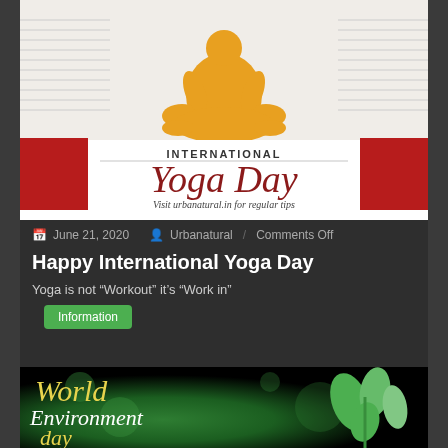[Figure (illustration): International Yoga Day promotional image with orange yoga figure silhouette in lotus position, red side panels, text 'INTERNATIONAL Yoga Day' in script, and 'Visit urbanatural.in for regular tips']
June 21, 2020  Urbanatural  Comments Off
Happy International Yoga Day
Yoga is not “Workout” it’s “Work in”
Information
[Figure (illustration): World Environment Day promotional image with yellow and white script text on green bokeh background with plant/leaves imagery]